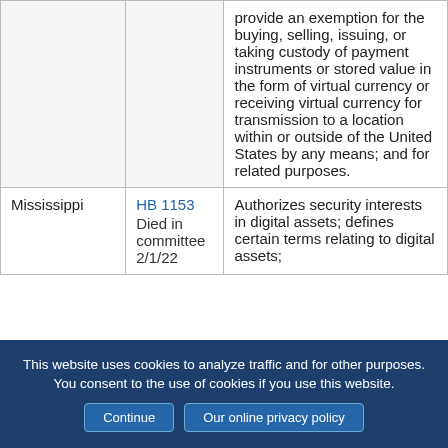| State | Bill | Description |
| --- | --- | --- |
|  |  | provide an exemption for the buying, selling, issuing, or taking custody of payment instruments or stored value in the form of virtual currency or receiving virtual currency for transmission to a location within or outside of the United States by any means; and for related purposes. |
| Mississippi | HB 1153
Died in committee
2/1/22 | Authorizes security interests in digital assets; defines certain terms relating to digital assets; |
This website uses cookies to analyze traffic and for other purposes. You consent to the use of cookies if you use this website. Continue | Our online privacy policy